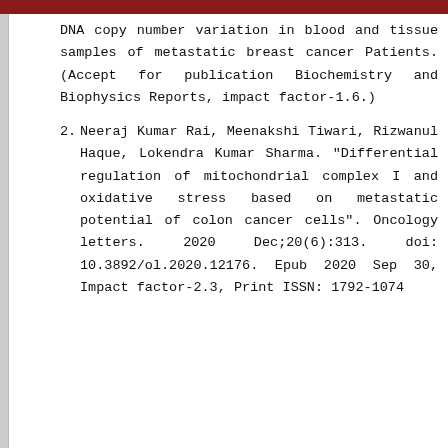DNA copy number variation in blood and tissue samples of metastatic breast cancer Patients. (Accept for publication Biochemistry and Biophysics Reports, impact factor-1.6.)
2. Neeraj Kumar Rai, Meenakshi Tiwari, Rizwanul Haque, Lokendra Kumar Sharma. "Differential regulation of mitochondrial complex I and oxidative stress based on metastatic potential of colon cancer cells". Oncology letters. 2020 Dec;20(6):313. doi: 10.3892/ol.2020.12176. Epub 2020 Sep 30, Impact factor-2.3, Print ISSN: 1792-1074